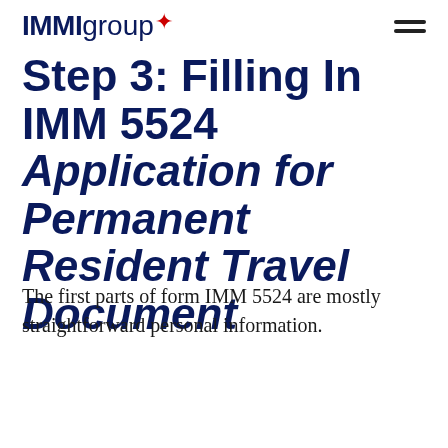IMMIgroup
Step 3: Filling In IMM 5524 Application for Permanent Resident Travel Document
The first parts of form IMM 5524 are mostly straightforward personal information.